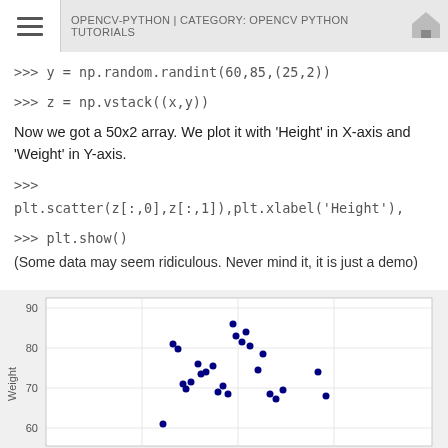OPENCV-PYTHON | CATEGORY: OPENCV PYTHON TUTORIALS
>>> y = np.random.randint(60,85,(25,2))
>>> z = np.vstack((x,y))
Now we got a 50x2 array. We plot it with 'Height' in X-axis and 'Weight' in Y-axis.
>>> plt.scatter(z[:,0],z[:,1]),plt.xlabel('Height'),
>>> plt.show()
(Some data may seem ridiculous. Never mind it, it is just a demo)
[Figure (continuous-plot): Scatter plot showing Height on X-axis and Weight on Y-axis. Y-axis shows values from ~50 to 90, with data points clustered around height 150-200 range, weight 60-85 range. Blue filled circle markers scattered across the plot area.]